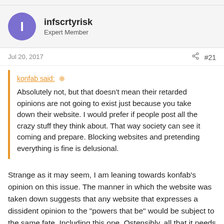infscrtyrisk | Expert Member
Jul 20, 2017  #21
konfab said: ↑
Absolutely not, but that doesn't mean their retarded opinions are not going to exist just because you take down their website. I would prefer if people post all the crazy stuff they think about. That way society can see it coming and prepare. Blocking websites and pretending everything is fine is delusional.
Strange as it may seem, I am leaning towards konfab's opinion on this issue. The manner in which the website was taken down suggests that any website that expresses a dissident opinion to the "powers that be" would be subject to the same fate. Including this one. Ostensibly, all that it needs is one complaint from an expat residing in another country. Sadly, many of this forum's members are too young to remember the vast swaths of